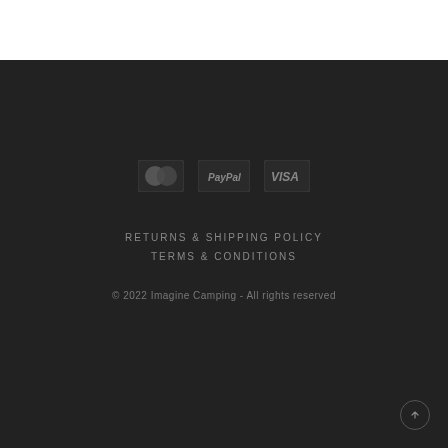[Figure (other): Payment method icons: Mastercard, PayPal, Visa]
RETURNS & SHIPPING POLICY
TERMS & CONDITIONS
© 2022 Imagine Camping - All rights reserved